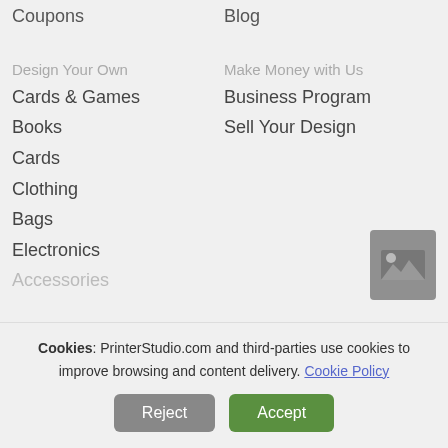Coupons
Blog
Design Your Own
Make Money with Us
Cards & Games
Business Program
Books
Sell Your Design
Cards
Clothing
Bags
Electronics
Accessories
[Figure (other): Image placeholder icon with a mountain/image symbol]
Cookies: PrinterStudio.com and third-parties use cookies to improve browsing and content delivery. Cookie Policy
Reject | Accept